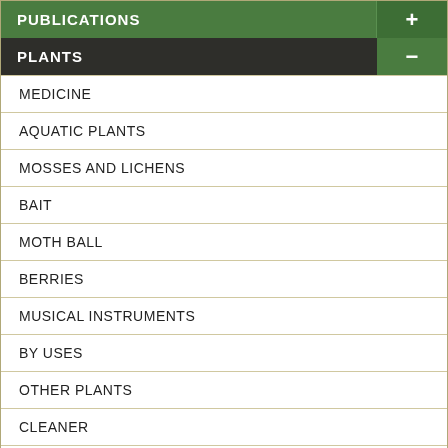PUBLICATIONS
PLANTS
MEDICINE
AQUATIC PLANTS
MOSSES AND LICHENS
BAIT
MOTH BALL
BERRIES
MUSICAL INSTRUMENTS
BY USES
OTHER PLANTS
CLEANER
PIPE
DIAPERS
DYE